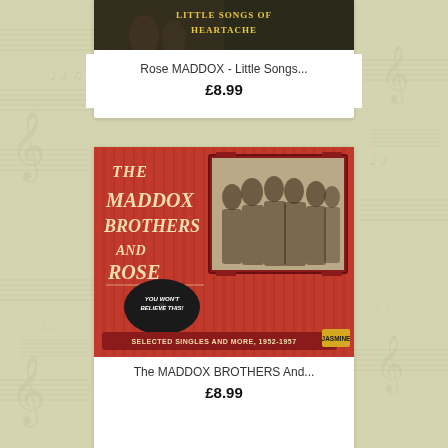[Figure (photo): Album cover for Rose Maddox - Little Songs of Heartache, dark background with yellow text]
Rose MADDOX - Little Songs...
£8.99
[Figure (photo): Album cover for The Maddox Brothers and Rose - Selected Singles and More 1952-1957, red corrugated background with vintage group photo in frame]
The MADDOX BROTHERS And...
£8.99